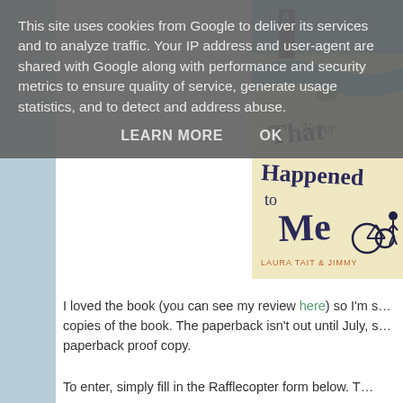This site uses cookies from Google to deliver its services and to analyze traffic. Your IP address and user-agent are shared with Google along with performance and security metrics to ensure quality of service, generate usage statistics, and to detect and address abuse.
LEARN MORE   OK
[Figure (illustration): Book cover for 'That Never Happened to Me' by Laura Tait & Jimmy]
I loved the book (you can see my review here) so I'm s... copies of the book. The paperback isn't out until July, s... paperback proof copy.
To enter, simply fill in the Rafflecopter form below. T...